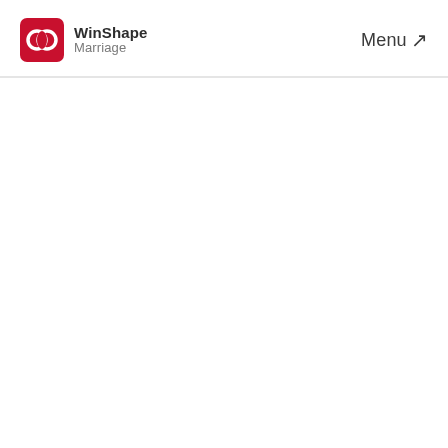[Figure (logo): WinShape Marriage logo: red rounded square with interlocking rings icon, followed by bold text 'WinShape' and gray text 'Marriage']
Menu ↗